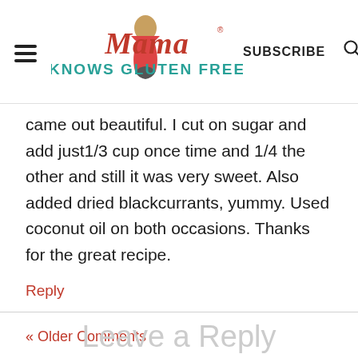Mama Knows Gluten Free — SUBSCRIBE
came out beautiful. I cut on sugar and add just1/3 cup once time and 1/4 the other and still it was very sweet. Also added dried blackcurrants, yummy. Used coconut oil on both occasions. Thanks for the great recipe.
Reply
« Older Comments
Leave a Reply